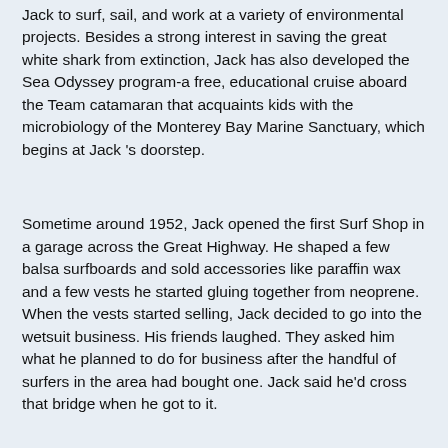Jack to surf, sail, and work at a variety of environmental projects. Besides a strong interest in saving the great white shark from extinction, Jack has also developed the Sea Odyssey program-a free, educational cruise aboard the Team catamaran that acquaints kids with the microbiology of the Monterey Bay Marine Sanctuary, which begins at Jack 's doorstep.
Sometime around 1952, Jack opened the first Surf Shop in a garage across the Great Highway. He shaped a few balsa surfboards and sold accessories like paraffin wax and a few vests he started gluing together from neoprene. When the vests started selling, Jack decided to go into the wetsuit business. His friends laughed. They asked him what he planned to do for business after the handful of surfers in the area had bought one. Jack said he'd cross that bridge when he got to it.